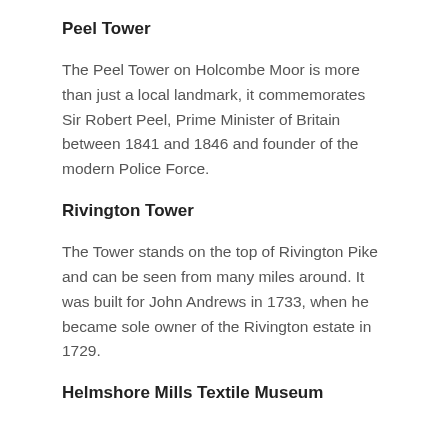Peel Tower
The Peel Tower on Holcombe Moor is more than just a local landmark, it commemorates Sir Robert Peel, Prime Minister of Britain between 1841 and 1846 and founder of the modern Police Force.
Rivington Tower
The Tower stands on the top of Rivington Pike and can be seen from many miles around. It was built for John Andrews in 1733, when he became sole owner of the Rivington estate in 1729.
Helmshore Mills Textile Museum